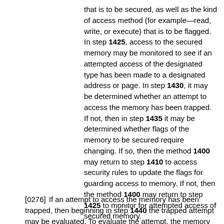that is to be secured, as well as the kind of access method (for example—read, write, or execute) that is to be flagged. In step 1425, access to the secured memory may be monitored to see if an attempted access of the designated type has been made to a designated address or page. In step 1430, it may be determined whether an attempt to access the memory has been trapped. If not, then in step 1435 it may be determined whether flags of the memory to be secured require changing. If so, then the method 1400 may return to step 1410 to access security rules to update the flags for guarding access to memory. If not, then the method 1400 may return to step 1425 to monitor for attempted access of secured memory.
[0276] If an attempt to access the memory has been trapped, then beginning in step 1440 the trapped attempt may be evaluated. To evaluate the attempt, the memory map may be consulted to determine from where the request was made, and identify the requestor. The values of data to be